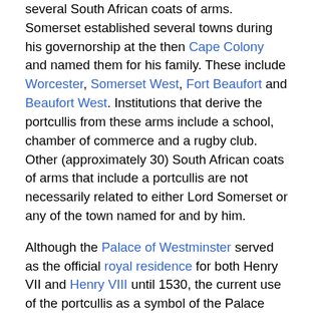several South African coats of arms. Somerset established several towns during his governorship at the then Cape Colony and named them for his family. These include Worcester, Somerset West, Fort Beaufort and Beaufort West. Institutions that derive the portcullis from these arms include a school, chamber of commerce and a rugby club. Other (approximately 30) South African coats of arms that include a portcullis are not necessarily related to either Lord Somerset or any of the town named for and by him.
Although the Palace of Westminster served as the official royal residence for both Henry VII and Henry VIII until 1530, the current use of the portcullis as a symbol of the Palace and of Parliament does not date from that time. Rather, the symbol was developed as part of Sir Charles Barry's plans for the rebuilt Palace after the original burned down on 16 October 1834; he conceptualized the new Palace as a "legislative castle", and the symbol of a